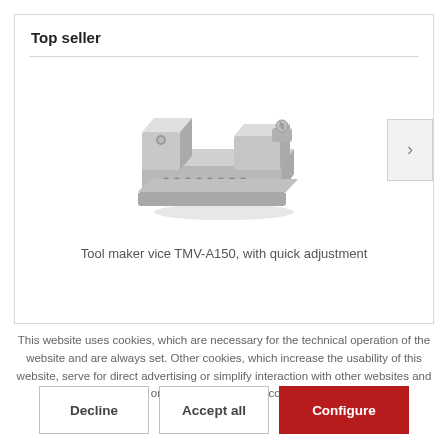Top seller
[Figure (photo): Tool maker vice TMV-A150 with quick adjustment, a metallic precision vice photographed on white background]
Tool maker vice TMV-A150, with quick adjustment
This website uses cookies, which are necessary for the technical operation of the website and are always set. Other cookies, which increase the usability of this website, serve for direct advertising or simplify interaction with other websites and social networks, will only be used with your consent. More information
Decline
Accept all
Configure